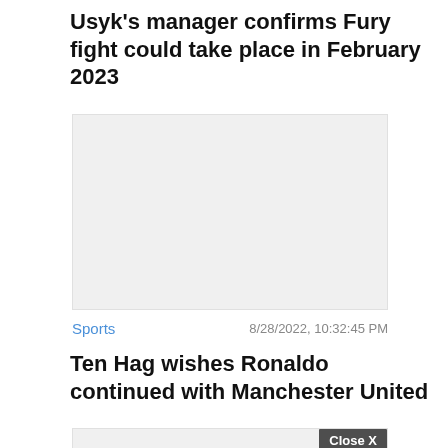Usyk's manager confirms Fury fight could take place in February 2023
[Figure (photo): Light gray placeholder image box for the Usyk/Fury article]
Sports
8/28/2022, 10:32:45 PM
Ten Hag wishes Ronaldo continued with Manchester United
[Figure (photo): Light gray placeholder image box for the Ten Hag/Ronaldo article with a 'Close X' button overlay and a BitLife 'Now with GOD MODE' advertisement banner at the bottom]